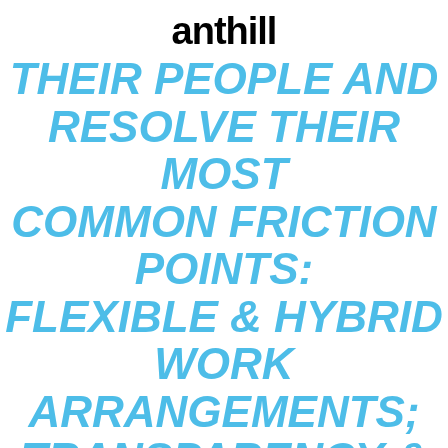anthill
THEIR PEOPLE AND RESOLVE THEIR MOST COMMON FRICTION POINTS: FLEXIBLE & HYBRID WORK ARRANGEMENTS; TRANSPARENCY & REMOTE TEAM COLLABORATION; WORKLOAD MANAGEMENT & BURNOUT; TEAM & ROLE DESIGN; AND INCLUSIVITY & EQUALITY